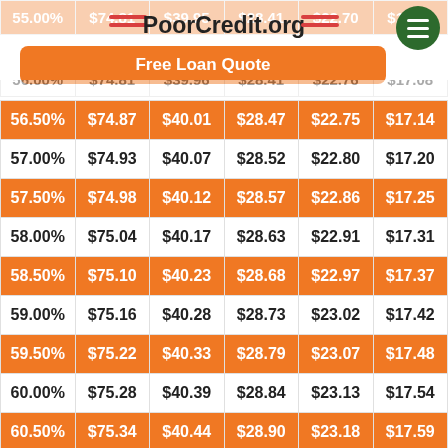PoorCredit.org — Free Loan Quote
| Rate | Col2 | Col3 | Col4 | Col5 | Col6 |
| --- | --- | --- | --- | --- | --- |
| 56.50% | $74.87 | $40.01 | $28.47 | $22.75 | $17.14 |
| 57.00% | $74.93 | $40.07 | $28.52 | $22.80 | $17.20 |
| 57.50% | $74.98 | $40.12 | $28.57 | $22.86 | $17.25 |
| 58.00% | $75.04 | $40.17 | $28.63 | $22.91 | $17.31 |
| 58.50% | $75.10 | $40.23 | $28.68 | $22.97 | $17.37 |
| 59.00% | $75.16 | $40.28 | $28.73 | $23.02 | $17.42 |
| 59.50% | $75.22 | $40.33 | $28.79 | $23.07 | $17.48 |
| 60.00% | $75.28 | $40.39 | $28.84 | $23.13 | $17.54 |
| 60.50% | $75.34 | $40.44 | $28.90 | $23.18 | $17.59 |
| 61.00% | $75.40 | $40.50 | $28.95 | $23.24 | $17.65 |
| 61.50% | $75.45 | $40.55 | $29.00 | $23.29 | $17.71 |
| 62.00% | $75.51 | $40.60 | $29.06 | $23.35 | $17.77 |